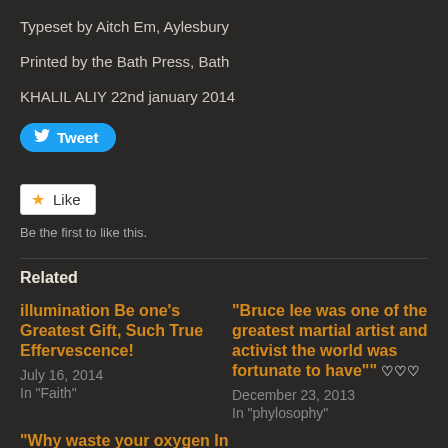Typeset by Aitch Em, Aylesbury
Printed by the Bath Press, Bath
KHALIL ALIY 22nd january 2014
[Figure (screenshot): Twitter Tweet button (blue rounded rectangle with bird icon)]
[Figure (screenshot): Facebook Like button (white rectangle with star icon)]
Be the first to like this.
Related
illumination Be one’s Greatest Gift, Such True Effervescence!
July 16, 2014
In “Faith”
“Bruce lee was one of the greatest martial artist and activist the world was fortunate to have”” ♡♡♡
December 23, 2013
In “phylosophy”
“Why waste your oxygen In Entertainment when the